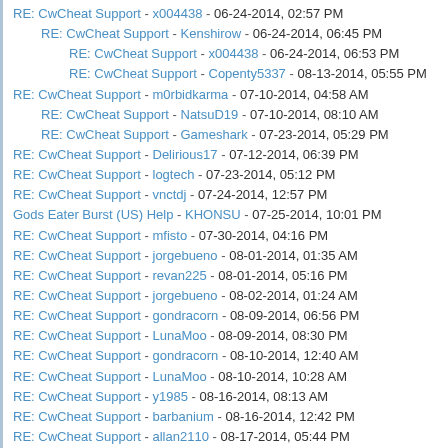RE: CwCheat Support - x004438 - 06-24-2014, 02:57 PM
RE: CwCheat Support - Kenshirow - 06-24-2014, 06:45 PM
RE: CwCheat Support - x004438 - 06-24-2014, 06:53 PM
RE: CwCheat Support - Copenty5337 - 08-13-2014, 05:55 PM
RE: CwCheat Support - m0rbidkarma - 07-10-2014, 04:58 AM
RE: CwCheat Support - NatsuD19 - 07-10-2014, 08:10 AM
RE: CwCheat Support - Gameshark - 07-23-2014, 05:29 PM
RE: CwCheat Support - Delirious17 - 07-12-2014, 06:39 PM
RE: CwCheat Support - logtech - 07-23-2014, 05:12 PM
RE: CwCheat Support - vnctdj - 07-24-2014, 12:57 PM
Gods Eater Burst (US) Help - KHONSU - 07-25-2014, 10:01 PM
RE: CwCheat Support - mfisto - 07-30-2014, 04:16 PM
RE: CwCheat Support - jorgebueno - 08-01-2014, 01:35 AM
RE: CwCheat Support - revan225 - 08-01-2014, 05:16 PM
RE: CwCheat Support - jorgebueno - 08-02-2014, 01:24 AM
RE: CwCheat Support - gondracorn - 08-09-2014, 06:56 PM
RE: CwCheat Support - LunaMoo - 08-09-2014, 08:30 PM
RE: CwCheat Support - gondracorn - 08-10-2014, 12:40 AM
RE: CwCheat Support - LunaMoo - 08-10-2014, 10:28 AM
RE: CwCheat Support - y1985 - 08-16-2014, 08:13 AM
RE: CwCheat Support - barbanium - 08-16-2014, 12:42 PM
RE: CwCheat Support - allan2110 - 08-17-2014, 05:44 PM
RE: CwCheat Support - Inuyashaya - 08-18-2014, 04:16 AM
RE: CwCheat Support - swampzero - 08-20-2014, 07:03 AM
RE: CwCheat Support - LunaMoo - 08-20-2014, 07:22 AM